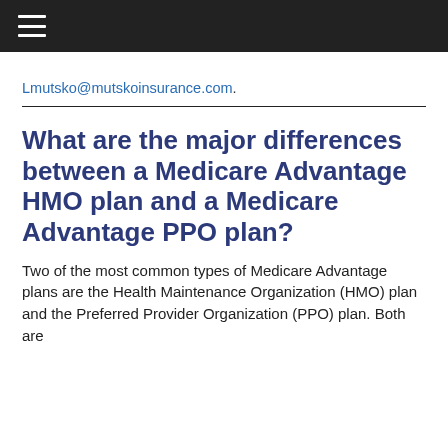≡
Lmutsko@mutskoinsurance.com.
What are the major differences between a Medicare Advantage HMO plan and a Medicare Advantage PPO plan?
Two of the most common types of Medicare Advantage plans are the Health Maintenance Organization (HMO) plan and the Preferred Provider Organization (PPO) plan. Both are